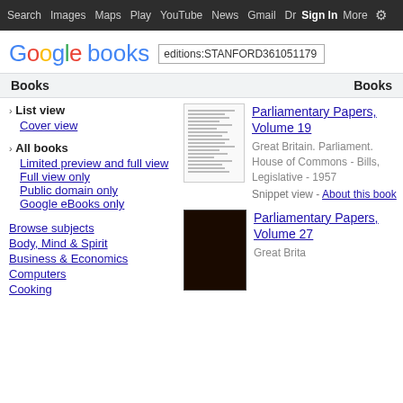Search Images Maps Play YouTube News Gmail Dr Sign In More ⚙
[Figure (logo): Google books logo with search box containing 'editions:STANFORD361051179']
Books    Books
› List view
Cover view
› All books
Limited preview and full view
Full view only
Public domain only
Google eBooks only
Browse subjects
Body, Mind & Spirit
Business & Economics
Computers
Cooking
Parliamentary Papers, Volume 19
Great Britain. Parliament. House of Commons - Bills, Legislative - 1957
Snippet view - About this book
Parliamentary Papers, Volume 27